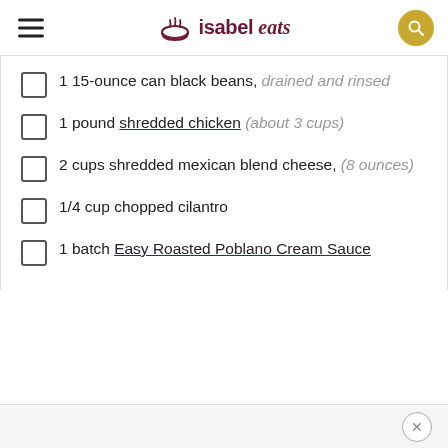isabel eats
1 15-ounce can black beans, drained and rinsed
1 pound shredded chicken (about 3 cups)
2 cups shredded mexican blend cheese, (8 ounces)
1/4 cup chopped cilantro
1 batch Easy Roasted Poblano Cream Sauce